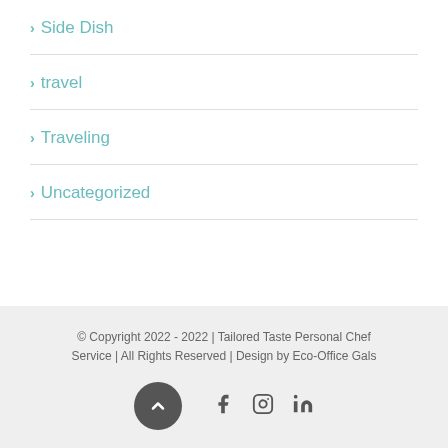> Side Dish
> travel
> Traveling
> Uncategorized
© Copyright 2022 - 2022 | Tailored Taste Personal Chef Service | All Rights Reserved | Design by Eco-Office Gals